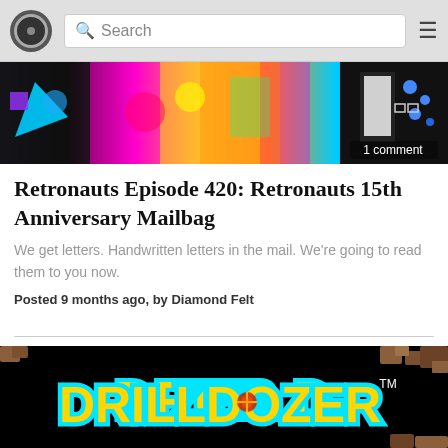Search
[Figure (screenshot): Colorful comic-style banner image with psychedelic colors, a figure in black and white on the right side with blue dots, with overlay text '1 comment']
Retronauts Episode 420: Retronauts 15th Anniversary Mailbag
We get letters. Handwritten letters in the mail. We're going to read them to you now.
Posted 9 months ago, by Diamond Felt
[Figure (screenshot): Drill Dozer game title screen with yellow logo text outlined in teal/cyan on a black background with rocky debris in the corners]